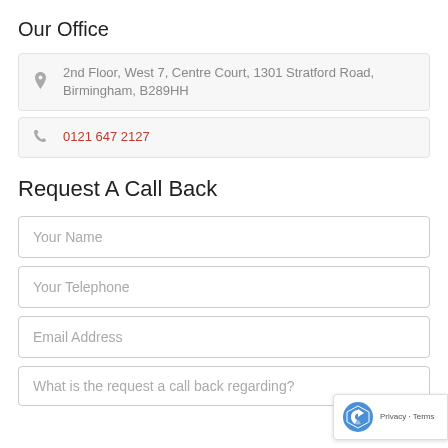Our Office
2nd Floor, West 7, Centre Court, 1301 Stratford Road, Birmingham, B289HH
0121 647 2127
Request A Call Back
Your Name
Your Telephone
Email Address
What is the request a call back regarding?